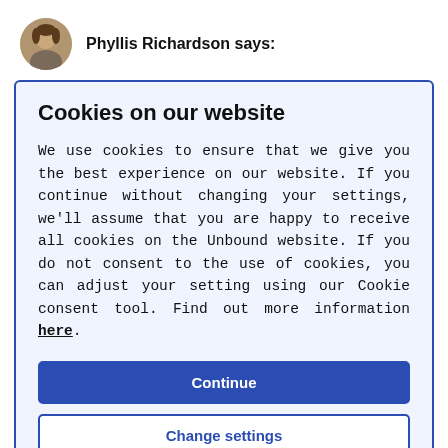Phyllis Richardson says:
Cookies on our website
We use cookies to ensure that we give you the best experience on our website. If you continue without changing your settings, we'll assume that you are happy to receive all cookies on the Unbound website. If you do not consent to the use of cookies, you can adjust your setting using our Cookie consent tool. Find out more information here.
Continue
Change settings